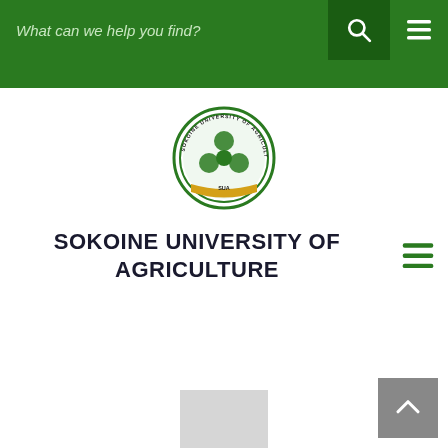[Figure (screenshot): Green search bar with placeholder text 'What can we help you find?', a dark search icon button, and a white hamburger menu icon]
[Figure (logo): Sokoine University of Agriculture circular seal/logo with green design, agricultural motifs, and yellow ribbon banner]
SOKOINE UNIVERSITY OF AGRICULTURE
[Figure (other): Partially visible image at bottom of page, grey/white tones]
[Figure (other): Grey scroll-to-top button with upward chevron arrow in bottom right corner]